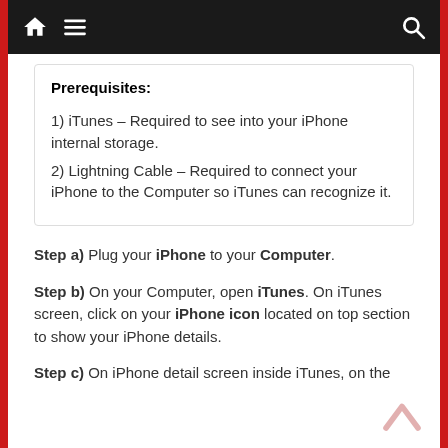Navigation bar with home, menu, search icons
Prerequisites:
1) iTunes – Required to see into your iPhone internal storage.
2) Lightning Cable – Required to connect your iPhone to the Computer so iTunes can recognize it.
Step a) Plug your iPhone to your Computer.
Step b) On your Computer, open iTunes. On iTunes screen, click on your iPhone icon located on top section to show your iPhone details.
Step c) On iPhone detail screen inside iTunes, on the left side of the iTunes screen, click on "File Sharing"